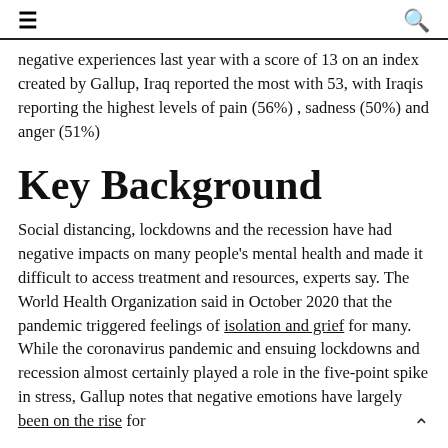≡  🔍
negative experiences last year with a score of 13 on an index created by Gallup, Iraq reported the most with 53, with Iraqis reporting the highest levels of pain (56%) , sadness (50%) and anger (51%)
Key Background
Social distancing, lockdowns and the recession have had negative impacts on many people's mental health and made it difficult to access treatment and resources, experts say. The World Health Organization said in October 2020 that the pandemic triggered feelings of isolation and grief for many. While the coronavirus pandemic and ensuing lockdowns and recession almost certainly played a role in the five-point spike in stress, Gallup notes that negative emotions have largely been on the rise for the past 10 years. Countries with evident trends...